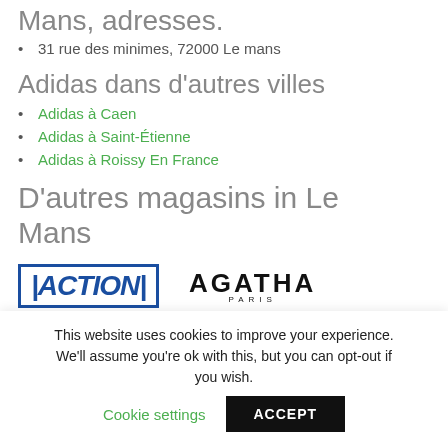Mans, adresses.
31 rue des minimes, 72000 Le mans
Adidas dans d'autres villes
Adidas à Caen
Adidas à Saint-Étienne
Adidas à Roissy En France
D'autres magasins in Le Mans
[Figure (logo): ACTION store logo in blue italic bold text with border, and AGATHA PARIS logo in bold black text]
This website uses cookies to improve your experience. We'll assume you're ok with this, but you can opt-out if you wish. Cookie settings ACCEPT